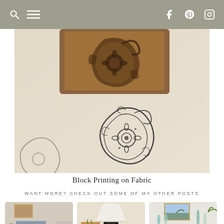Navigation bar with search, menu, facebook, pinterest, instagram icons
[Figure (photo): Close-up photo of a wooden block printing stamp with intricate floral/paisley design being used on cream fabric, showing the inked print below it]
Block Printing on Fabric
WANT MORE? CHECK OUT SOME OF MY OTHER POSTS
[Figure (photo): Photo of a living room with a gray painted fireplace mantel decorated with plants and art]
Easy DIY "Marble" Hearth... and a fireplace makeover
[Figure (photo): Photo of a black table lamp with white shade on a wood surface with small plants]
A Super Easy Lamp Update
[Figure (photo): Photo of a gray dresser with glass bottles, vases and a framed painting above]
Linen Dresser Makeover